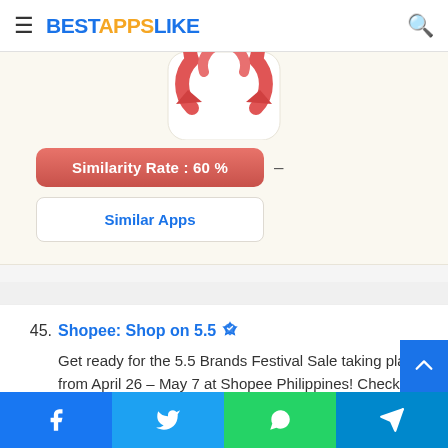BESTAPPSLIKE
[Figure (logo): Red circular arrow app icon (Shopee-like), partially visible at top of card]
Similarity Rate : 60 %
Similar Apps
45. Shopee: Shop on 5.5
Get ready for the 5.5 Brands Festival Sale taking place from April 26 – May 7 at Shopee Philippines! Check everything in your cart with Zero Shipping ₱ 0 minimum spend! Make the